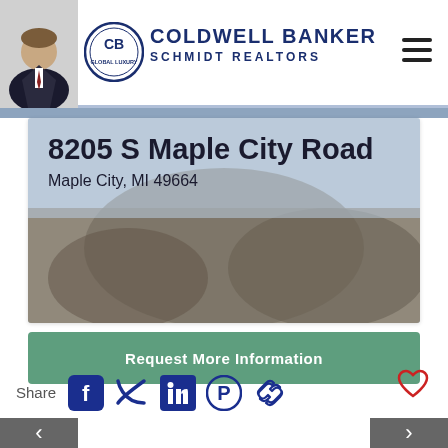[Figure (logo): Coldwell Banker Schmidt Realtors logo with agent photo, circular CB globe luxury logo, and brand name]
8205 S Maple City Road
Maple City, MI 49664
[Figure (photo): Blurred/obscured property photo showing outdoor scene]
Request More Information
Share
[Figure (illustration): Social sharing icons: Facebook, Twitter, LinkedIn, Pinterest, link/chain. Heart/favorite icon on the right.]